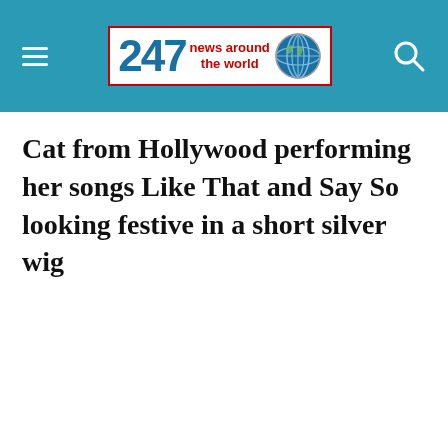247 news around the world
Cat from Hollywood performing her songs Like That and Say So looking festive in a short silver wig